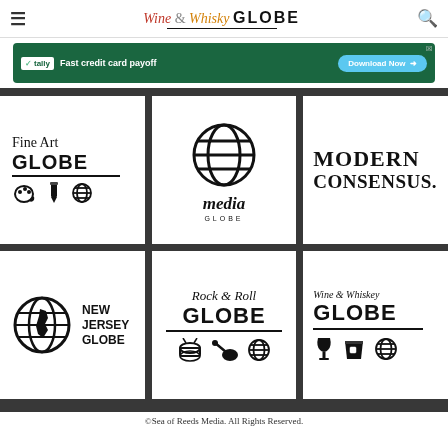Wine & Whisky GLOBE
[Figure (screenshot): Tally app advertisement banner - Fast credit card payoff, Download Now button]
[Figure (logo): Fine Art GLOBE logo with palette, pen, and globe icons]
[Figure (logo): media GLOBE logo with globe graphic]
[Figure (logo): MODERN CONSENSUS. logo in serif bold type]
[Figure (logo): New Jersey GLOBE logo with globe and NJ state shape]
[Figure (logo): Rock & Roll GLOBE logo with drum, guitar, and globe icons]
[Figure (logo): Wine & Whiskey GLOBE logo with wine glass, rocks glass, and globe icons]
©Sea of Reeds Media. All Rights Reserved.